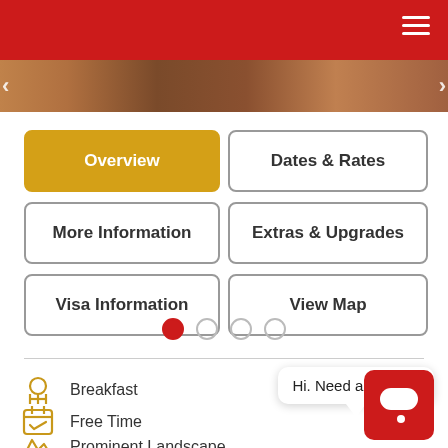[Figure (photo): Image strip/carousel of travel destination photos with left and right navigation arrows]
Overview
Dates & Rates
More Information
Extras & Upgrades
Visa Information
View Map
[Figure (other): Carousel pagination dots: 1 filled red dot followed by 3 empty circles]
Breakfast
Free Time
Prominent Landscape
Hi. Need any help?